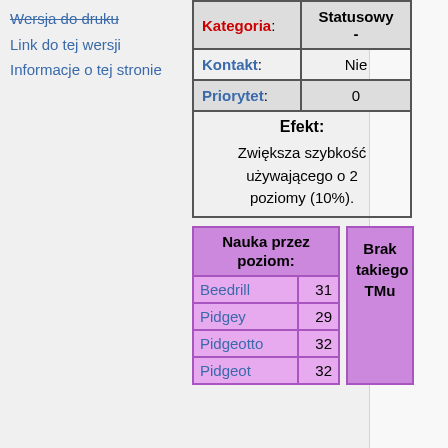Wersja do druku
Link do tej wersji
Informacje o tej stronie
| Kategoria: | Statusowy - |
| --- | --- |
| Kontakt: | Nie |
| Priorytet: | 0 |
| Efekt: | Zwiększa szybkość używającego o 2 poziomy (10%). |
| Nauka przez poziom: | Brak takiego TMu |
| --- | --- |
| Beedrill | 31 |
| Pidgey | 29 |
| Pidgeotto | 32 |
| Pidgeot | 32 |